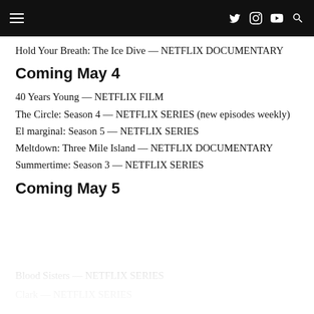Hold Your Breath: The Ice Dive — NETFLIX DOCUMENTARY
Coming May 4
40 Years Young — NETFLIX FILM
The Circle: Season 4 — NETFLIX SERIES (new episodes weekly)
El marginal: Season 5 — NETFLIX SERIES
Meltdown: Three Mile Island — NETFLIX DOCUMENTARY
Summertime: Season 3 — NETFLIX SERIES
Coming May 5
Blood Sisters — NETFLIX SERIES
Clark — NETFLIX SERIES